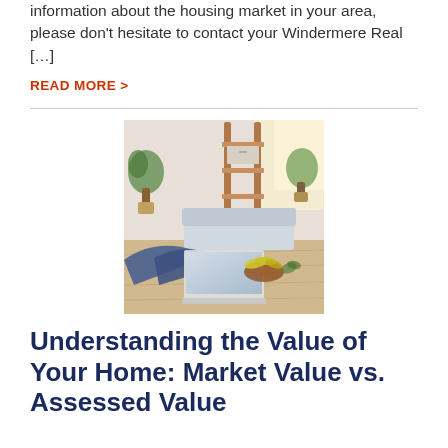information about the housing market in your area, please don't hesitate to contact your Windermere Real […]
READ MORE >
[Figure (photo): Person typing on a laptop at a wooden table with a bowl of fruit and a plant; a leaning ladder shelf and sofa in the background.]
Understanding the Value of Your Home: Market Value vs. Assessed Value